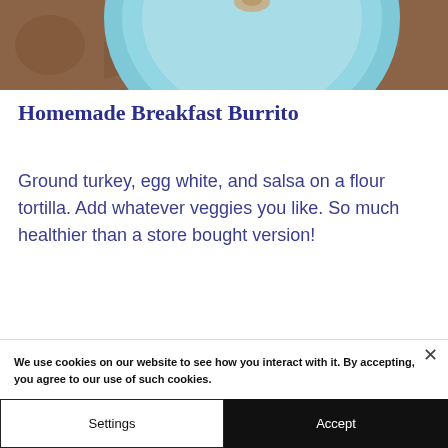[Figure (photo): Overhead photo of a blue plate on a brown marble surface, partially cropped, showing a burrito or similar food item.]
Homemade Breakfast Burrito
Ground turkey, egg white, and salsa on a flour tortilla. Add whatever veggies you like. So much healthier than a store bought version!
We use cookies on our website to see how you interact with it. By accepting, you agree to our use of such cookies.